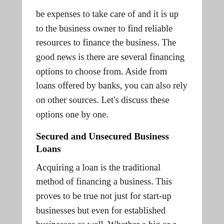be expenses to take care of and it is up to the business owner to find reliable resources to finance the business. The good news is there are several financing options to choose from. Aside from loans offered by banks, you can also rely on other sources. Let's discuss these options one by one.
Secured and Unsecured Business Loans
Acquiring a loan is the traditional method of financing a business. This proves to be true not just for start-up businesses but even for established businesses as well. Whether a big or a small business, applying for a loan is the most viable option.